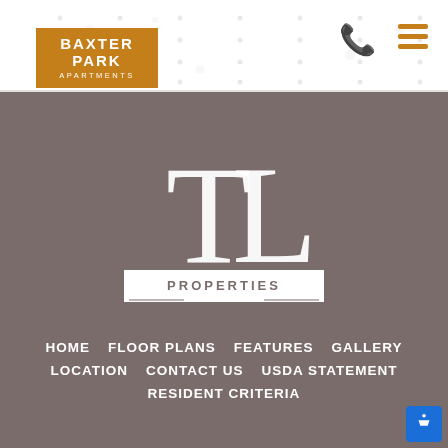[Figure (logo): Baxter Park Apartments logo - orange/gold rectangle with white text reading BAXTER PARK APARTMENTS]
[Figure (logo): TL Properties LLC logo - white serif TL monogram with PROPERTIES LLC text below, on a taupe/gray background]
HOME   FLOOR PLANS   FEATURES   GALLERY   LOCATION   CONTACT US   USDA STATEMENT   RESIDENT CRITERIA